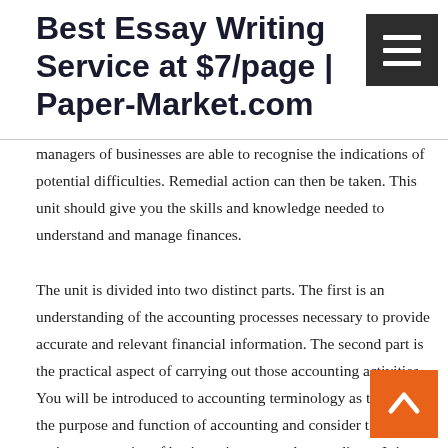Best Essay Writing Service at $7/page | Paper-Market.com
managers of businesses are able to recognise the indications of potential difficulties. Remedial action can then be taken. This unit should give you the skills and knowledge needed to understand and manage finances.
The unit is divided into two distinct parts. The first is an understanding of the accounting processes necessary to provide accurate and relevant financial information. The second part is the practical aspect of carrying out those accounting activities. You will be introduced to accounting terminology as they study the purpose and function of accounting and consider the various categories of business income and expenditure. It is important to know the sources of an organisation's income and the nature of its expenditure as this clarifies the basis of its profitability and enables more effective control of the business. This control begins with the planning process and learners will study the use